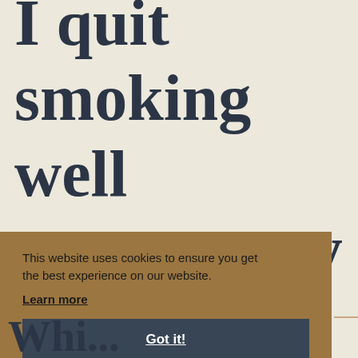I quit smoking well over twenty
This website uses cookies to ensure you get the best experience on our website.
Learn more
Got it!
Whi...